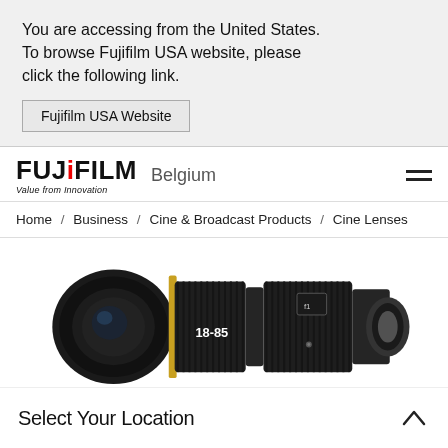You are accessing from the United States. To browse Fujifilm USA website, please click the following link.
Fujifilm USA Website
[Figure (logo): Fujifilm logo with red 'i' and tagline 'Value from Innovation', followed by 'Belgium' region label and hamburger menu icon]
Home / Business / Cine & Broadcast Products / Cine Lenses
[Figure (photo): Fujifilm 18-85 cine zoom lens, black, shown in profile on white background]
Select Your Location